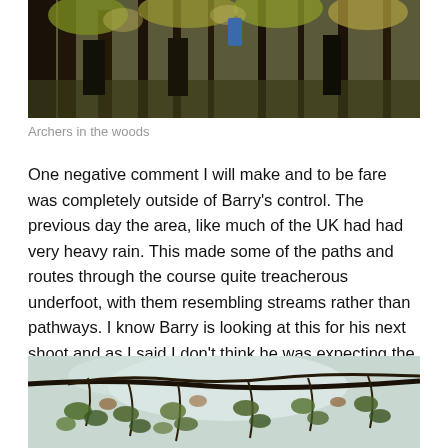[Figure (photo): Archers in a woodland setting, people visible among trees with autumn foliage]
Archers in the woods
One negative comment I will make and to be fare was completely outside of Barry's control. The previous day the area, like much of the UK had had very heavy rain. This made some of the paths and routes through the course quite treacherous underfoot, with them resembling streams rather than pathways. I know Barry is looking at this for his next shoot and as I said I don't think he was expecting the weather we had the day before.
[Figure (photo): Close-up of tree branches with green and brown leaves against a bright sky]